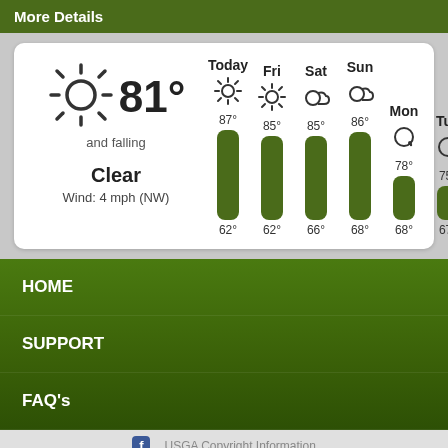More Details
[Figure (infographic): Weather widget showing current conditions (81°, and falling, Clear, Wind: 4 mph (NW)) and 6-day forecast with green bar chart. Today: 87°/62°, Fri: 85°/62°, Sat: 85°/66°, Sun: 86°/68°, Mon: 78°/68°, Tue: 75°/67°]
HOME
SUPPORT
FAQ's
USGA Copyright Information
Back to the top of Pine Ridge Golf Course